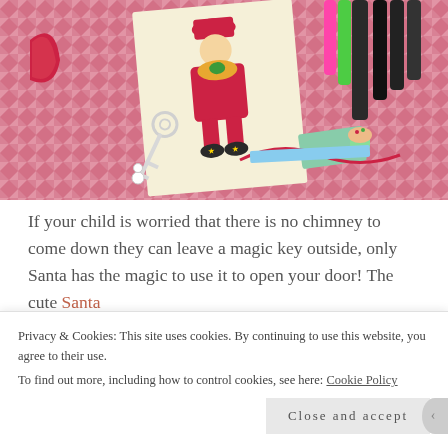[Figure (photo): Overhead photo of a pink triangle-patterned background with a Christmas-themed Santa Claus coloring card, a silver magic key, colorful markers, and Christmas ribbon decorations]
If your child is worried that there is no chimney to come down they can leave a magic key outside, only Santa has the magic to use it to open your door! The cute Santa
Privacy & Cookies: This site uses cookies. By continuing to use this website, you agree to their use.
To find out more, including how to control cookies, see here: Cookie Policy
Close and accept